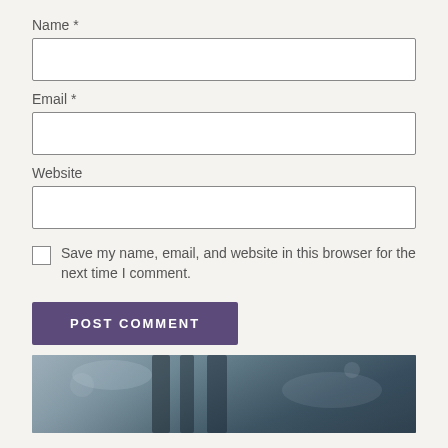Name *
Email *
Website
Save my name, email, and website in this browser for the next time I comment.
POST COMMENT
[Figure (photo): Dark atmospheric photo, partially visible at bottom of page, appears to show architectural or natural elements in dark blue-grey tones]